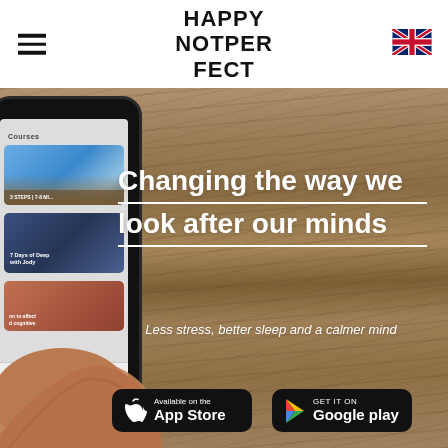HAPPY NOTPERFECT
[Figure (screenshot): Hero section of the Happy Not Perfect website showing a hand holding a smartphone with the app open, overlaid on a wooden background. Text reads: Changing the way we look after our minds. Less stress, better sleep and a calmer mind. App Store and Google Play download buttons.]
Changing the way we look after our minds
Less stress, better sleep and a calmer mind